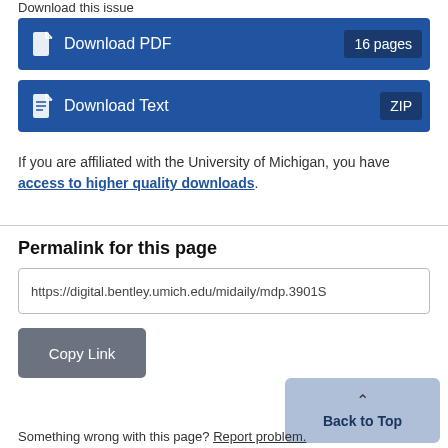Download this issue
Download PDF  16 pages
Download Text  ZIP
If you are affiliated with the University of Michigan, you have access to higher quality downloads.
Permalink for this page
https://digital.bentley.umich.edu/midaily/mdp.3901S
Copy Link
Back to Top
Something wrong with this page? Report problem.